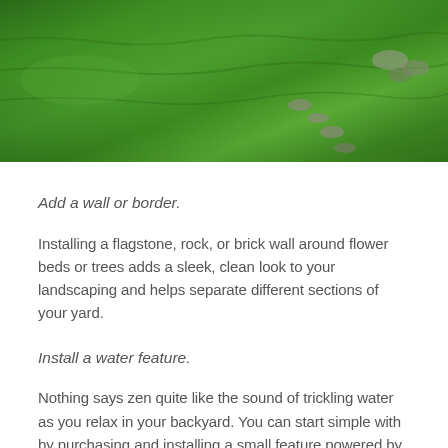[Figure (photo): Aerial view of a green lawn with stepping stones and landscaping in the background]
Add a wall or border.
Installing a flagstone, rock, or brick wall around flower beds or trees adds a sleek, clean look to your landscaping and helps separate different sections of your yard.
Install a water feature.
Nothing says zen quite like the sound of trickling water as you relax in your backyard. You can start simple with by purchasing and installing a small feature powered by a solar panel or create a larger focal point in your yard by